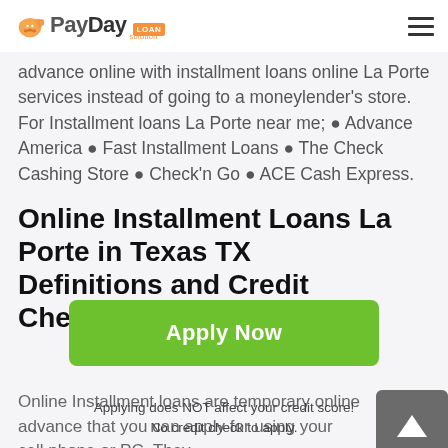PayDay Loan Solution
advance online with installment loans online La Porte services instead of going to a moneylender's store. For Installment loans La Porte near me; • Advance America • Fast Installment Loans • The Check Cashing Store • Check'n Go • ACE Cash Express.
Online Installment Loans La Porte in Texas TX Definitions and Credit Checks
Online Installment loans are temporary online advances that you can apply for using your cell phone or PC. They
[Figure (other): Gray scroll-to-top button with upward arrow icon]
Apply Now
Applying does NOT affect your credit score!
No credit check to apply.